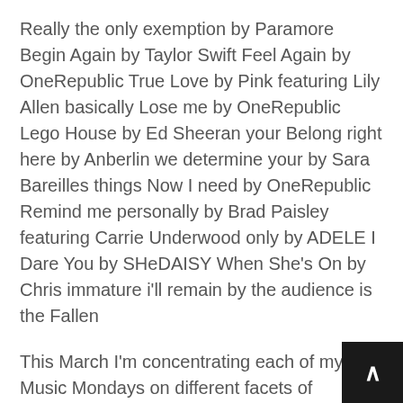Really the only exemption by Paramore Begin Again by Taylor Swift Feel Again by OneRepublic True Love by Pink featuring Lily Allen basically Lose me by OneRepublic Lego House by Ed Sheeran your Belong right here by Anberlin we determine your by Sara Bareilles things Now I need by OneRepublic Remind me personally by Brad Paisley featuring Carrie Underwood only by ADELE I Dare You by SHeDAISY When She's On by Chris immature i'll remain by the audience is the Fallen
This March I'm concentrating each of my Music Mondays on different facets of interactions, great, terrible, and unsightly. However we start with why people desires be in love, the fluffy, nauseating, lovey, dovey items.
Bubbly by Colbie Caillat Give me a call possibly